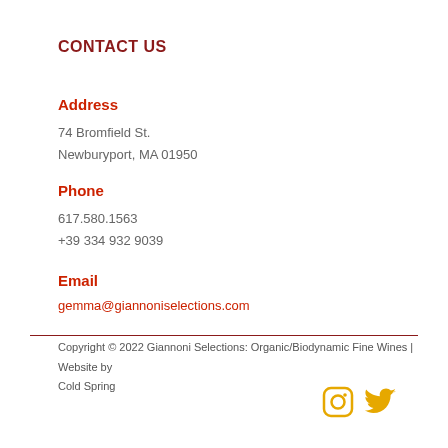CONTACT US
Address
74 Bromfield St.
Newburyport, MA 01950
Phone
617.580.1563
+39 334 932 9039
Email
gemma@giannoniselections.com
Copyright © 2022 Giannoni Selections: Organic/Biodynamic Fine Wines | Website by Cold Spring